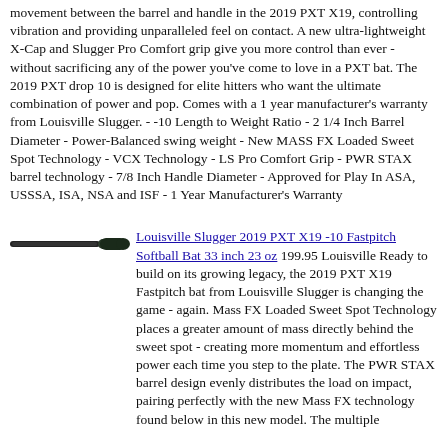movement between the barrel and handle in the 2019 PXT X19, controlling vibration and providing unparalleled feel on contact. A new ultra-lightweight X-Cap and Slugger Pro Comfort grip give you more control than ever - without sacrificing any of the power you've come to love in a PXT bat. The 2019 PXT drop 10 is designed for elite hitters who want the ultimate combination of power and pop. Comes with a 1 year manufacturer's warranty from Louisville Slugger. - -10 Length to Weight Ratio - 2 1/4 Inch Barrel Diameter - Power-Balanced swing weight - New MASS FX Loaded Sweet Spot Technology - VCX Technology - LS Pro Comfort Grip - PWR STAX barrel technology - 7/8 Inch Handle Diameter - Approved for Play In ASA, USSSA, ISA, NSA and ISF - 1 Year Manufacturer's Warranty
[Figure (photo): Photo of a black Louisville Slugger softball bat]
Louisville Slugger 2019 PXT X19 -10 Fastpitch Softball Bat 33 inch 23 oz 199.95 Louisville Ready to build on its growing legacy, the 2019 PXT X19 Fastpitch bat from Louisville Slugger is changing the game - again. Mass FX Loaded Sweet Spot Technology places a greater amount of mass directly behind the sweet spot - creating more momentum and effortless power each time you step to the plate. The PWR STAX barrel design evenly distributes the load on impact, pairing perfectly with the new Mass FX technology found below in this new model. The multiple...